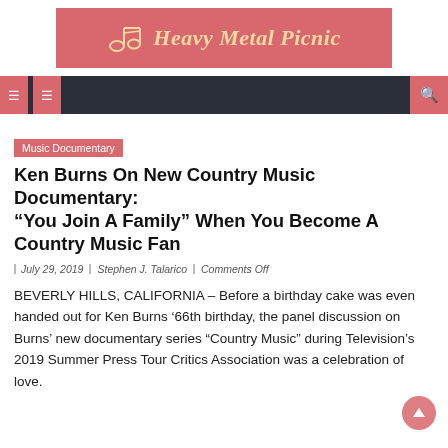[Figure (logo): Heavy Metal Picnic logo with music note icon on pink/salmon background]
Navigation bar with menu icons and search icon
Music Documentary
Ken Burns On New Country Music Documentary: “You Join A Family” When You Become A Country Music Fan
July 29, 2019  Stephen J. Talarico  Comments Off
BEVERLY HILLS, CALIFORNIA – Before a birthday cake was even handed out for Ken Burns ’66th birthday, the panel discussion on Burns’ new documentary series “Country Music” during Television’s 2019 Summer Press Tour Critics Association was a celebration of love.